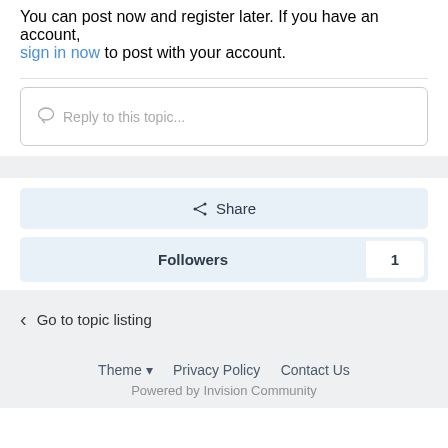You can post now and register later. If you have an account, sign in now to post with your account.
Reply to this topic...
Share
Followers 1
Go to topic listing
Theme ▾  Privacy Policy  Contact Us
Powered by Invision Community